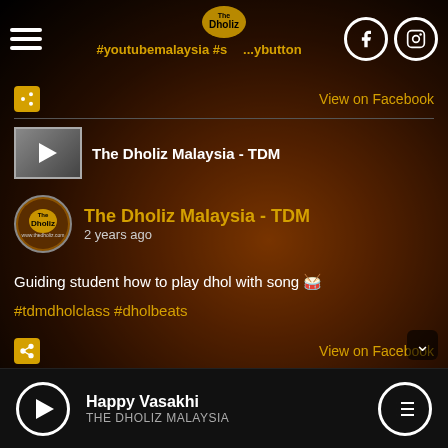#youtubemalaysia #s...ybutton
View on Facebook
[Figure (screenshot): Video thumbnail with play button for The Dholiz Malaysia - TDM]
The Dholiz Malaysia - TDM
The Dholiz Malaysia - TDM
2 years ago
Guiding student how to play dhol with song 🥁
#tdmdholclass #dholbeats
View on Facebook
Happy Vasakhi
THE DHOLIZ MALAYSIA